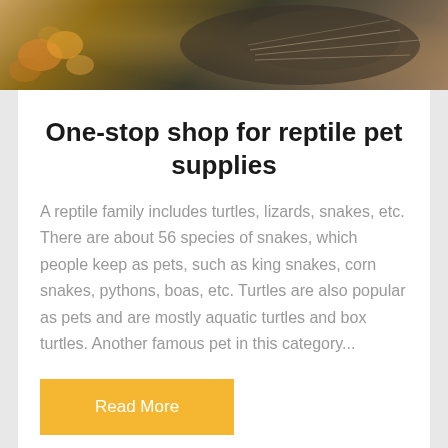[Figure (photo): Close-up photo of a reptile (lizard or similar) with whiskers/spines visible, with orange and yellow flowers in the background. Dark tones overall.]
One-stop shop for reptile pet supplies
A reptile family includes turtles, lizards, snakes, etc. There are about 56 species of snakes, which people keep as pets, such as king snakes, corn snakes, pythons, boas, etc. Turtles are also popular as pets and are mostly aquatic turtles and box turtles. Another famous pet in this category...
Read More
[Figure (photo): Cityscape photo with blue sky and tall buildings visible at the bottom of the page.]